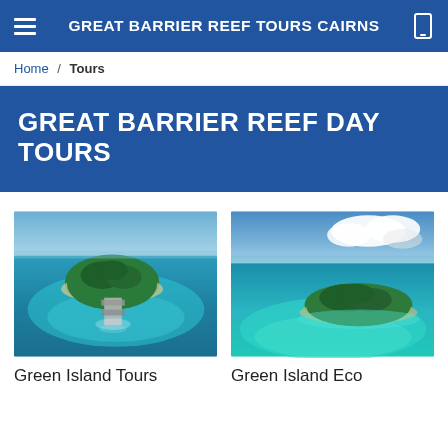GREAT BARRIER REEF TOURS CAIRNS
Home / Tours
GREAT BARRIER REEF DAY TOURS
[Figure (photo): Aerial view of Green Island surrounded by turquoise Great Barrier Reef water, with a pontoon docked at the island]
Green Island Tours
[Figure (photo): Aerial view of Green Island Eco resort, a small green island surrounded by shallow turquoise reef waters with clouds above]
Green Island Eco